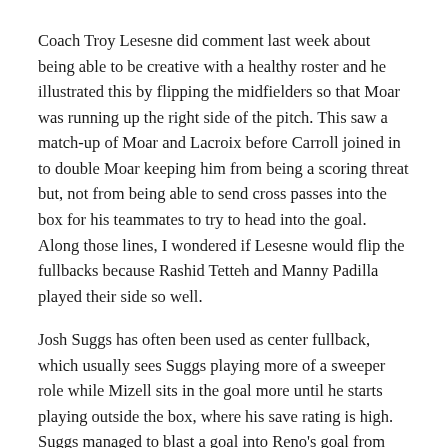Coach Troy Lesesne did comment last week about being able to be creative with a healthy roster and he illustrated this by flipping the midfielders so that Moar was running up the right side of the pitch. This saw a match-up of Moar and Lacroix before Carroll joined in to double Moar keeping him from being a scoring threat but, not from being able to send cross passes into the box for his teammates to try to head into the goal. Along those lines, I wondered if Lesesne would flip the fullbacks because Rashid Tetteh and Manny Padilla played their side so well.
Josh Suggs has often been used as center fullback, which usually sees Suggs playing more of a sweeper role while Mizell sits in the goal more until he starts playing outside the box, where his save rating is high. Suggs managed to blast a goal into Reno's goal from outside of the box at the 39-minute mark, which tied the game up at half time.  Sam Hamilton substituted in for Soler at start of the second half. Devon Sandoval came in for Wehan at the 66-minute mark. Kenny Akamatsu replaced Moar at the 81-minute mark. It may have appeared that New Mexico were going into "let's quit with…